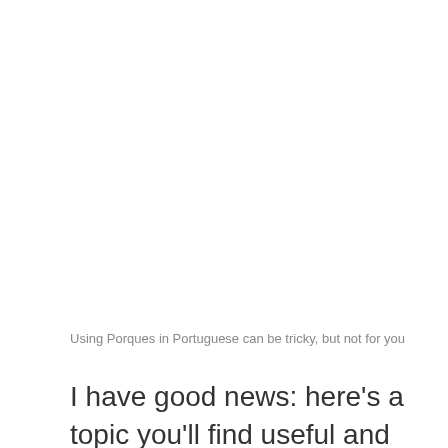Using Porques in Portuguese can be tricky, but not for you
I have good news: here's a topic you'll find useful and very easy to understand.